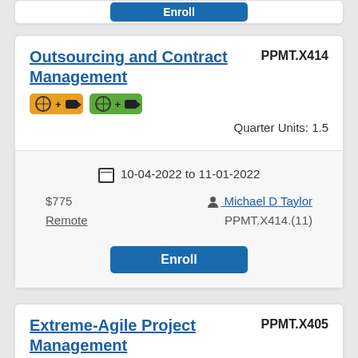Enroll
Outsourcing and Contract Management
PPMT.X414
Quarter Units: 1.5
10-04-2022 to 11-01-2022
$775
Michael D Taylor
Remote
PPMT.X414.(11)
Enroll
Extreme-Agile Project Management
PPMT.X405
Quarter Units: 1.5